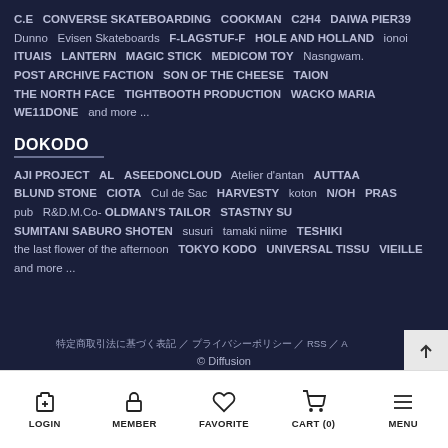C.E   CONVERSE SKATEBOARDING   COOKMAN   C2H4   DAIWA PIER39   Dunno   Evisen Skateboards   F-LAGSTUF-F   HOLE AND HOLLAND   ionoi   ITUAIS   LANTERN   MAGIC STICK   MEDICOM TOY   Nasngwam.   POST ARCHIVE FACTION   SON OF THE CHEESE   TAION   THE NORTH FACE   TIGHTBOOTH PRODUCTION   WACKO MARIA   WE11DONE   and more ...
DOKODO
AJI PROJECT   AL   ASEEDONCLOUD   Atelier d'antan   AUTTAA   BLUND STONE   CIOTA   Cul de Sac   HARVESTY   koton   N/OH   PRAS   pub   R&D.M.Co- OLDMAN'S TAILOR   STASTNY SU   SUMITANI SABURO SHOTEN   susuri   tamaki niime   TESHIKI   the last flower of the afternoon   TOKYO KODO   UNIVERSAL TISSU   VIEILLE   and more ...
特定商取引法に基づく表記 / プライバシーポリシー / RSS / A... © Diffusion
LOGIN   MEMBER   FAVORITE   CART (0)   MENU